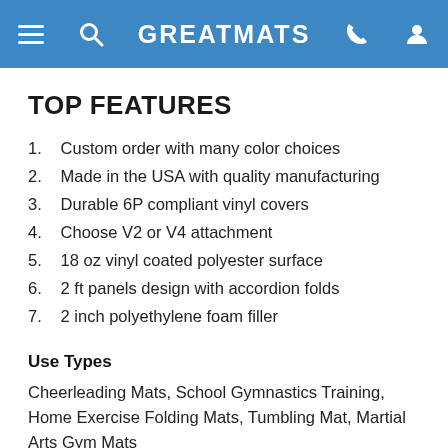GREATMATS
TOP FEATURES
Custom order with many color choices
Made in the USA with quality manufacturing
Durable 6P compliant vinyl covers
Choose V2 or V4 attachment
18 oz vinyl coated polyester surface
2 ft panels design with accordion folds
2 inch polyethylene foam filler
Use Types
Cheerleading Mats, School Gymnastics Training, Home Exercise Folding Mats, Tumbling Mat, Martial Arts Gym Mats